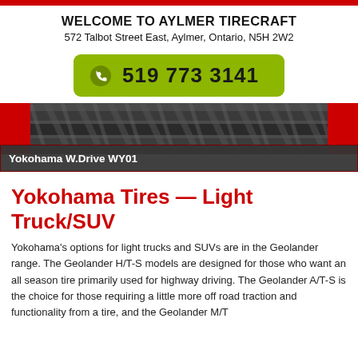WELCOME TO AYLMER TIRECRAFT
572 Talbot Street East, Aylmer, Ontario, N5H 2W2
519 773 3141
[Figure (photo): Close-up photo of tire tread with red side panels and caption bar reading 'Yokohama W.Drive WY01']
Yokohama W.Drive WY01
Yokohama Tires — Light Truck/SUV
Yokohama's options for light trucks and SUVs are in the Geolander range. The Geolander H/T-S models are designed for those who want an all season tire primarily used for highway driving. The Geolander A/T-S is the choice for those requiring a little more off road traction and functionality from a tire, and the Geolander M/T